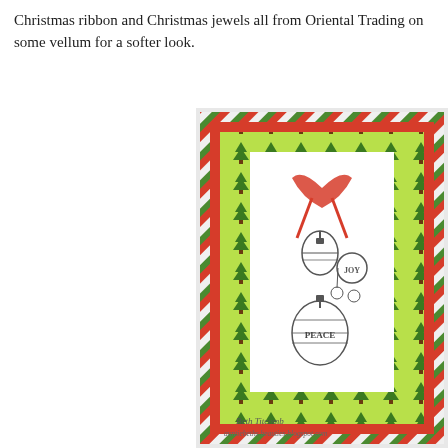Christmas ribbon and Christmas jewels all from Oriental Trading on some vellum for a softer look.
[Figure (photo): A handmade Christmas card featuring red and green striped patterned paper, Christmas tree print paper, a white banner panel with stamped ornament images reading PEACE and JOY, and a red ribbon bow. A signature at the bottom reads 'Beth Titcomb' and 'auntiebeths beauties.blogspot.com'.]